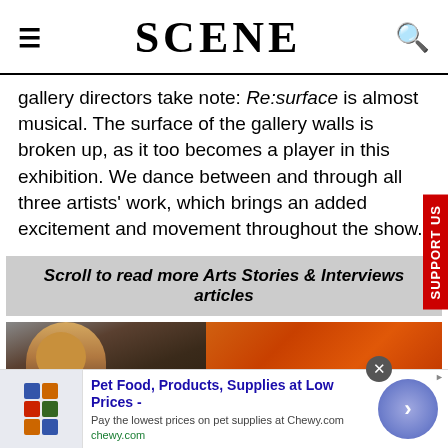SCENE
gallery directors take note: Re:surface is almost musical. The surface of the gallery walls is broken up, as it too becomes a player in this exhibition. We dance between and through all three artists' work, which brings an added excitement and movement throughout the show.
Scroll to read more Arts Stories & Interviews articles
[Figure (photo): Two-panel image: left panel shows a woman with blonde hair in a ponytail, right panel shows orange/spiced food in a baking dish.]
Pet Food, Products, Supplies at Low Prices - Pay the lowest prices on pet supplies at Chewy.com chewy.com